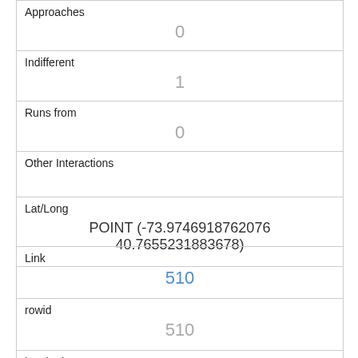| Approaches | 0 |
| Indifferent | 1 |
| Runs from | 0 |
| Other Interactions |  |
| Lat/Long | POINT (-73.9746918762076 40.7655231883678) |
| Link | 510 |
| rowid | 510 |
| longitude | -73.9638590768396 |
| latitude | 40.7776782114981 06 |
| Unique Squirrel ID |  |